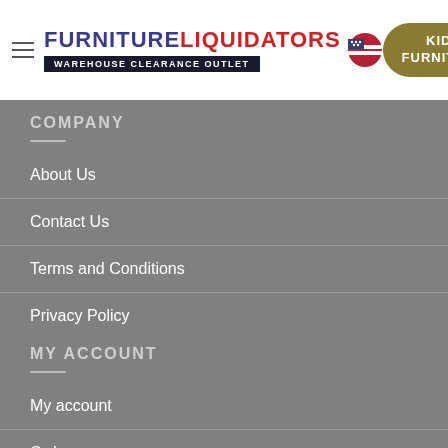[Figure (logo): Furniture Liquidators USA logo with warehouse clearance outlet banner and flag icon]
COMPANY
About Us
Contact Us
Terms and Conditions
Privacy Policy
MY ACCOUNT
My account
Orders
Sitemap